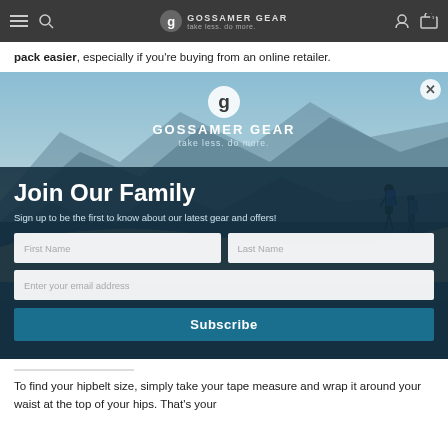Gossamer Gear — take less. do more.
pack easier, especially if you're buying from an online retailer.
[Figure (screenshot): Gossamer Gear email signup modal popup with mountain landscape background, showing logo, 'Join Our Family' heading, subscription form with First Name, Last Name, email fields and Subscribe button]
Join Our Family
Sign up to be the first to know about our latest gear and offers!
To find your hipbelt size, simply take your tape measure and wrap it around your waist at the top of your hips. That's your